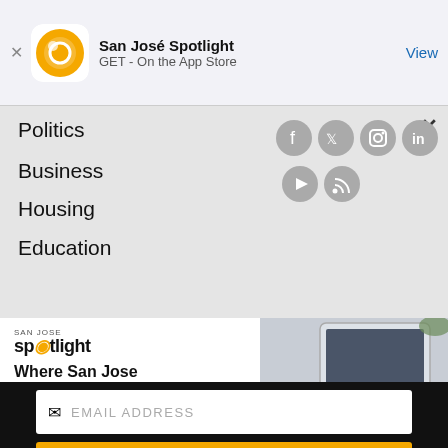San José Spotlight — GET - On the App Store — View
Politics
Business
Housing
Education
[Figure (screenshot): San José Spotlight advertisement: logo, tagline 'Where San Jose locals start the day.', sanjosespotlight.com, tablet image]
EMAIL ADDRESS
SUBSCRIBE
Thanks, I'm not interested or already a subscriber